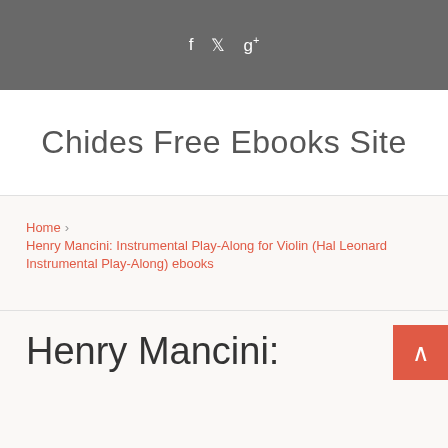f  ✦  g+
Chides Free Ebooks Site
Home › Henry Mancini: Instrumental Play-Along for Violin (Hal Leonard Instrumental Play-Along) ebooks
Henry Mancini: